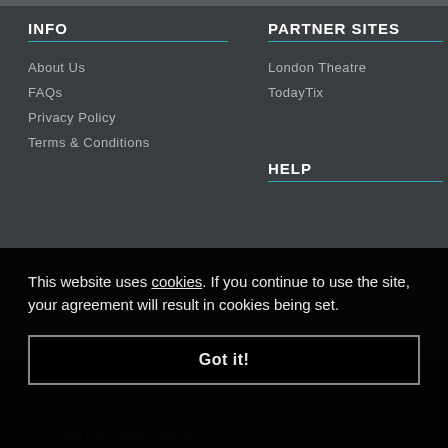INFO
About Us
FAQs
Privacy Policy
Terms & Conditions
PARTNER SITES
London Theatre
TodayTix
HELP
Support
This website uses cookies. If you continue to use the site, your agreement will result in cookies being set.
Got it!
© 2022 NewYorkTheatreGuide.com